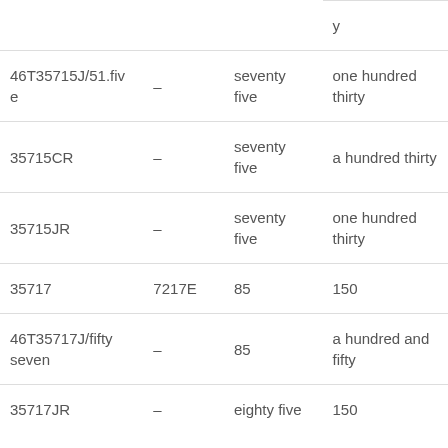| 46T35715J/51.five | – | seventy five | one hundred thirty |
| 35715CR | – | seventy five | a hundred thirty |
| 35715JR | – | seventy five | one hundred thirty |
| 35717 | 7217E | 85 | 150 |
| 46T35717J/fifty seven | – | 85 | a hundred and fifty |
| 35717JR | – | eighty five | 150 |